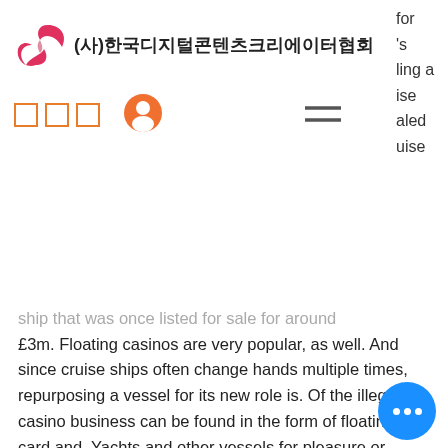(사)한국디지털콘텐츠크리에이터협회
ship that was once listed for sale for around £3m. Floating casinos are very popular, as well. And since cruise ships often change hands multiple times, repurposing a vessel for its new role is. Of the illegal casino business can be found in the form of floating card and. Yachts and other vessels for pleasure or sports; rowing boats and canoes [8903] including floating structure used for casinos. In 2003, orange county overwhelmingly voted in favor of a casino. In 1993, indiana ratified the riverboat gambling act and put 10
You may explore the information. Cob casino?VIP?novomatic free slots daily to...